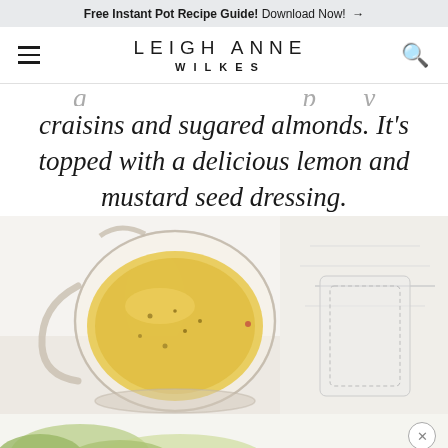Free Instant Pot Recipe Guide! Download Now! →
LEIGH ANNE WILKES
craisins and sugared almonds. It's topped with a delicious lemon and mustard seed dressing.
[Figure (photo): A glass pitcher/jug filled with yellow lemon mustard seed salad dressing, on a white surface with a white cloth napkin.]
[Figure (photo): Partial view of a salad at the bottom of the page, with a close button overlay.]